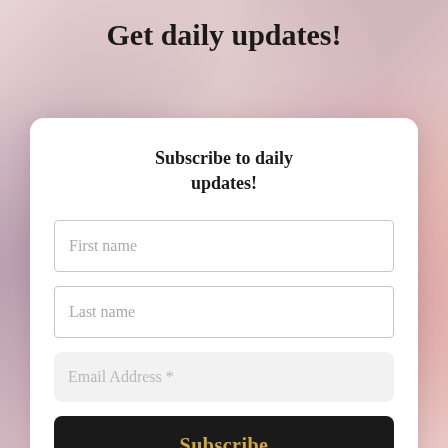Get daily updates!
Subscribe to daily updates!
First name
Last name
Email Address *
Subscribe